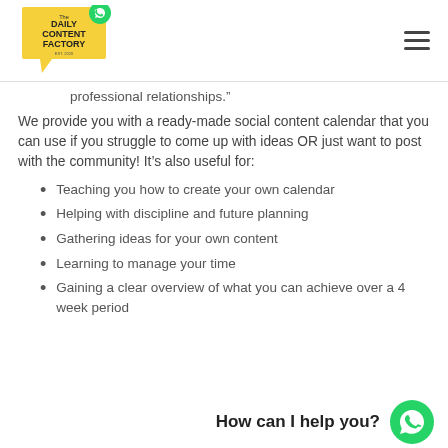[Figure (logo): The Daily Content Factory logo — yellow speech bubble shape with green WhatsApp icon, bold text inside]
professional relationships.”
We provide you with a ready-made social content calendar that you can use if you struggle to come up with ideas OR just want to post with the community! It’s also useful for:
Teaching you how to create your own calendar
Helping with discipline and future planning
Gathering ideas for your own content
Learning to manage your time
Gaining a clear overview of what you can achieve over a 4 week period
How can I help you?